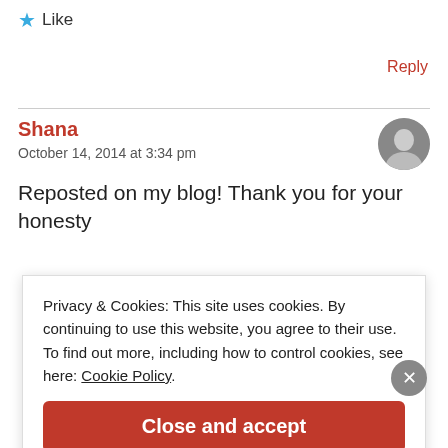★ Like
Reply
Shana
October 14, 2014 at 3:34 pm
Reposted on my blog! Thank you for your honesty
Privacy & Cookies: This site uses cookies. By continuing to use this website, you agree to their use. To find out more, including how to control cookies, see here: Cookie Policy
Close and accept